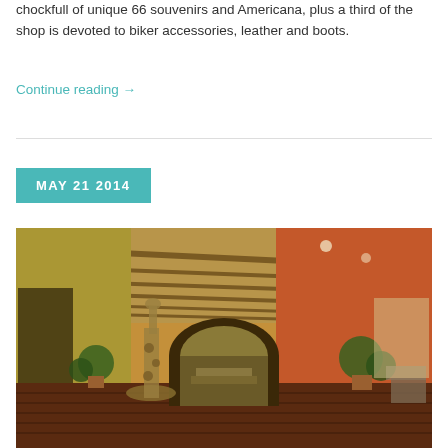chockfull of unique 66 souvenirs and Americana, plus a third of the shop is devoted to biker accessories, leather and boots.
Continue reading →
MAY 21 2014
[Figure (photo): Interior corridor of a rustic adobe-style building with arched doorways, terracotta walls, wooden beam ceiling, potted plants, and decorative animal sculptures on a dark tiled floor.]